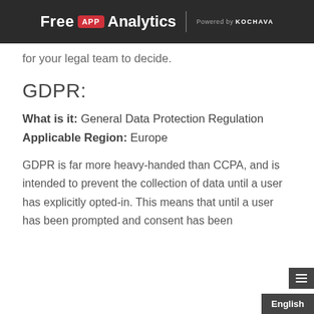Free APP Analytics – Powered by KOCHAVA
for your legal team to decide.
GDPR:
What is it: General Data Protection Regulation
Applicable Region: Europe
GDPR is far more heavy-handed than CCPA, and is intended to prevent the collection of data until a user has explicitly opted-in. This means that until a user has been prompted and consent has been